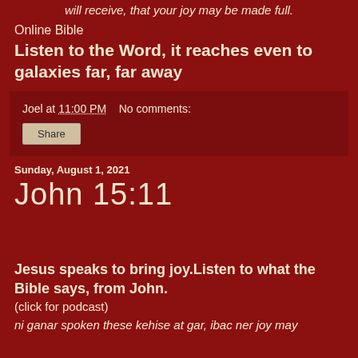will receive, that your joy may be made full.
Online Bible
Listen to the Word, it reaches even to galaxies far, far away
Joel at 11:00 PM   No comments:
Share
Sunday, August 1, 2021
John 15:11
Jesus speaks to bring joy.Listen to what the Bible says, from John.
(click for podcast)
ni ganar spoken these kehise at gar, ibac ner joy may